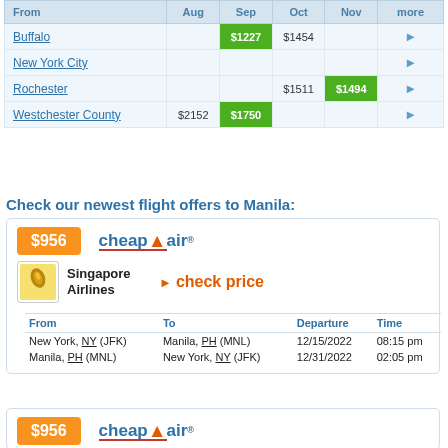| From | Aug | Sep | Oct | Nov | more |
| --- | --- | --- | --- | --- | --- |
| Buffalo |  | $1227 | $1454 |  | ▶ |
| New York City |  |  |  |  | ▶ |
| Rochester |  |  | $1511 | $1494 | ▶ |
| Westchester County | $2152 | $1750 |  |  | ▶ |
Check our newest flight offers to Manila:
[Figure (other): CheapOAir flight offer card showing $956 price badge, CheapOAir logo, Singapore Airlines logo with 'check price' link, and flight details table]
| From | To | Departure | Time |
| --- | --- | --- | --- |
| New York, NY (JFK) | Manila, PH (MNL) | 12/15/2022 | 08:15 pm |
| Manila, PH (MNL) | New York, NY (JFK) | 12/31/2022 | 02:05 pm |
[Figure (other): Second CheapOAir flight offer card showing $956 price badge and CheapOAir logo (partially visible)]